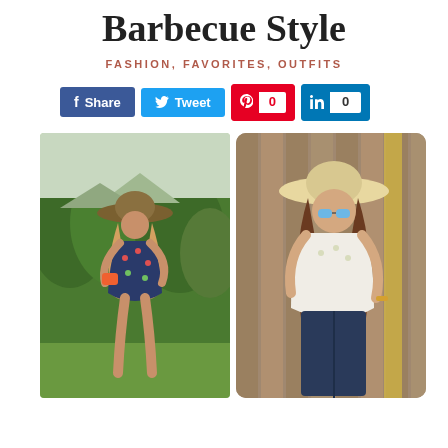Barbecue Style
FASHION, FAVORITES, OUTFITS
[Figure (infographic): Social sharing buttons: Facebook Share, Twitter Tweet, Pinterest (count: 0), LinkedIn (count: 0)]
[Figure (photo): Two fashion photos side by side: left shows a blonde woman in a navy floral romper with a straw hat and mirrored sunglasses standing in front of green bushes; right shows a brunette woman in a white top and dark jeans with a floppy straw hat and blue mirrored sunglasses standing in front of a wooden fence.]